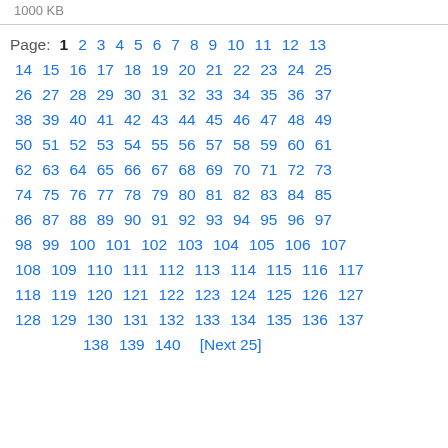1000 KB
Page: 1 2 3 4 5 6 7 8 9 10 11 12 13 14 15 16 17 18 19 20 21 22 23 24 25 26 27 28 29 30 31 32 33 34 35 36 37 38 39 40 41 42 43 44 45 46 47 48 49 50 51 52 53 54 55 56 57 58 59 60 61 62 63 64 65 66 67 68 69 70 71 72 73 74 75 76 77 78 79 80 81 82 83 84 85 86 87 88 89 90 91 92 93 94 95 96 97 98 99 100 101 102 103 104 105 106 107 108 109 110 111 112 113 114 115 116 117 118 119 120 121 122 123 124 125 126 127 128 129 130 131 132 133 134 135 136 137 138 139 140 [Next 25]